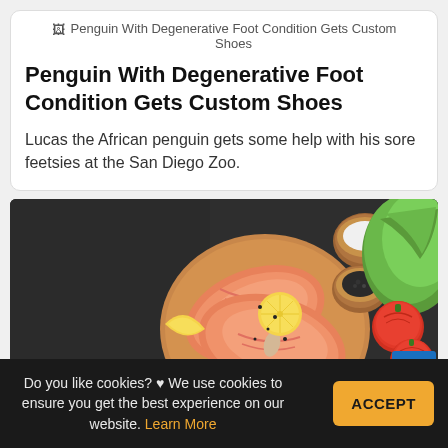[Figure (other): Broken image placeholder with alt text: Penguin With Degenerative Foot Condition Gets Custom Shoes]
Penguin With Degenerative Foot Condition Gets Custom Shoes
Lucas the African penguin gets some help with his sore feetsies at the San Diego Zoo.
[Figure (photo): Food photo showing salmon steaks on a wooden cutting board with lemon slices, tomatoes, lettuce, and spices on a dark background]
Do you like cookies? ♥ We use cookies to ensure you get the best experience on our website. Learn More